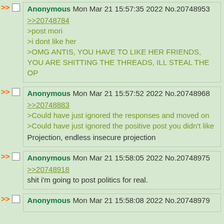Anonymous Mon Mar 21 15:57:35 2022 No.20748953
>>20748784
>post mori
>i dont like her
>OMG ANTIS, YOU HAVE TO LIKE HER FRIENDS, YOU ARE SHITTING THE THREADS, ILL STEAL THE OP
Anonymous Mon Mar 21 15:57:52 2022 No.20748968
>>20748883
>Could have just ignored the responses and moved on
>Could have just ignored the positive post you didn't like
Projection, endless insecure projection
Anonymous Mon Mar 21 15:58:05 2022 No.20748975
>>20748918
shit i'm going to post politics for real.
Anonymous Mon Mar 21 15:58:08 2022 No.20748979